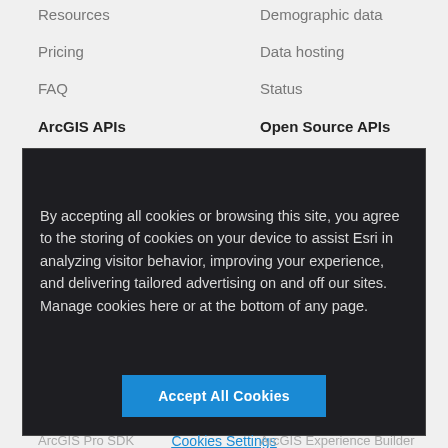Resources
Demographic data
Pricing
Data hosting
FAQ
Status
ArcGIS APIs
Open Source APIs
By accepting all cookies or browsing this site, you agree to the storing of cookies on your device to assist Esri in analyzing visitor behavior, improving your experience, and delivering tailored advertising on and off our sites. Manage cookies here or at the bottom of any page.
Accept All Cookies
Cookies Settings
ArcGIS Pro SDK
ArcGIS Experience Builder